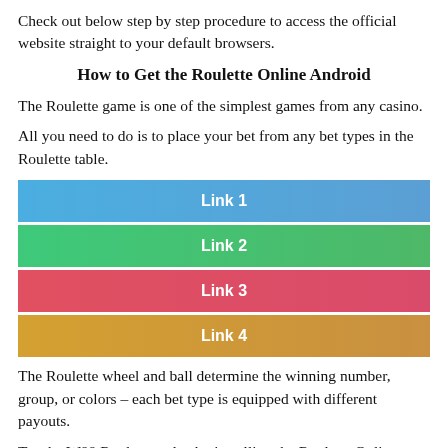Check out below step by step procedure to access the official website straight to your default browsers.
How to Get the Roulette Online Android
The Roulette game is one of the simplest games from any casino.
All you need to do is to place your bet from any bet types in the Roulette table.
[Figure (infographic): Four colored button-style links: Link 1 (blue), Link 2 (green), Link 3 (red/pink), Link 4 (golden/yellow)]
The Roulette wheel and ball determine the winning number, group, or colors – each bet type is equipped with different payouts.
Try the W88 Roulette today by installing the Roulette Online App.Ope